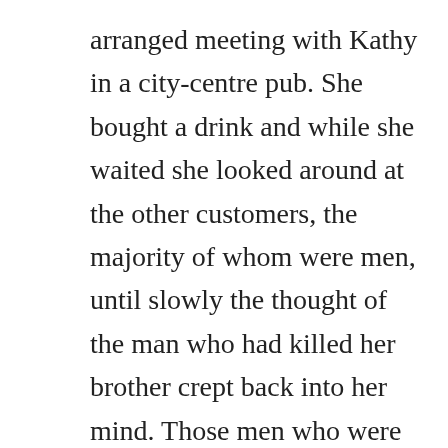arranged meeting with Kathy in a city-centre pub. She bought a drink and while she waited she looked around at the other customers, the majority of whom were men, until slowly the thought of the man who had killed her brother crept back into her mind. Those men who were laughing in the corner; that man with reddish hair and big, rough hands who was drinking alone; even the white-coated barman, cutting wedges